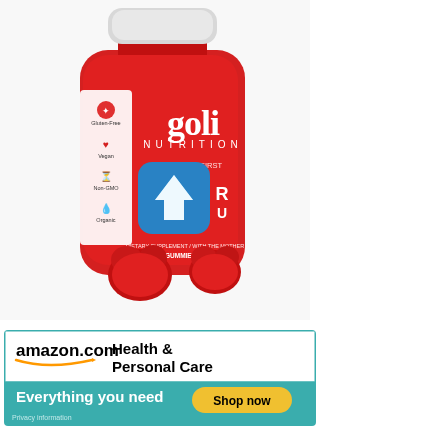[Figure (photo): A red bottle of Goli Nutrition ACV (Apple Cider Vinegar) Gummies with a white cap. The label reads 'goli NUTRITION', 'WORLD'S FIRST ACV GUMMY', and 'DIETARY SUPPLEMENT / WITH THE MOTHER, 60 GUMMIES'. The bottle has a white side panel with icons for Gluten-Free, Vegan, Non-GMO, and Organic. A blue rounded-square badge with a white upward arrow overlays the bottle. Two red gummy candies sit in front of the bottle.]
[Figure (screenshot): Amazon.com Health & Personal Care advertisement banner. Shows amazon.com logo with smile arrow, text 'Health & Personal Care', tagline 'Everything you need', and a yellow 'Shop now' button on a teal background. Small 'Privacy information' text at bottom left.]